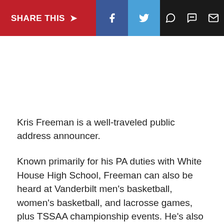SHARE THIS → f [Twitter] [WhatsApp] [Message] [Email]
Kris Freeman is a well-traveled public address announcer.
Known primarily for his PA duties with White House High School, Freeman can also be heard at Vanderbilt men's basketball, women's basketball, and lacrosse games, plus TSSAA championship events. He's also slated to be the